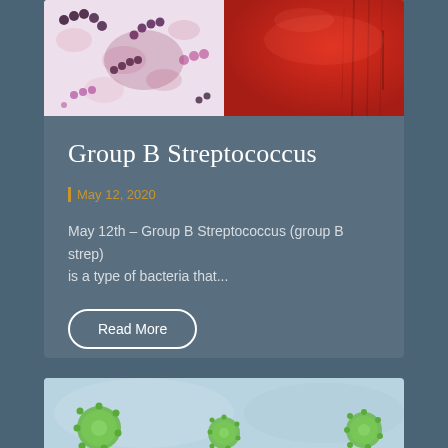[Figure (photo): Two microscopy images side by side: left shows gram-stained bacteria (streptococcus chains, pink/purple), right shows red blood agar plate with bacterial growth]
Group B Streptococcus
May 12, 2020
May 12th – Group B Streptococcus (group B strep) is a type of bacteria that...
Read More
[Figure (photo): Microscopy image of green virus particles (likely norovirus or similar) on a light blue background]